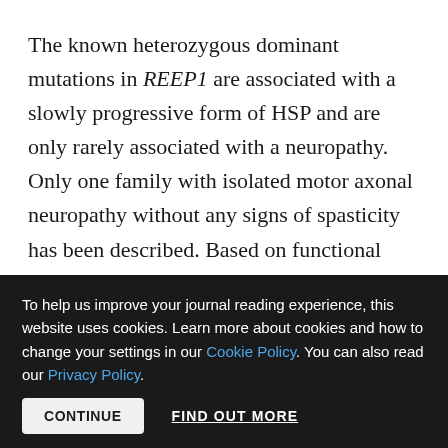The known heterozygous dominant mutations in REEP1 are associated with a slowly progressive form of HSP and are only rarely associated with a neuropathy. Only one family with isolated motor axonal neuropathy without any signs of spasticity has been described. Based on functional studies, the authors suspected that heterozygous loss-of-function mutations may result in upper motor neuron pathology, while mutations with a presumed toxic gain of function might cause lower motor neuron disease.7 The >40 published dominant
To help us improve your journal reading experience, this website uses cookies. Learn more about cookies and how to change your settings in our Cookie Policy. You can also read our Privacy Policy. CONTINUE  FIND OUT MORE